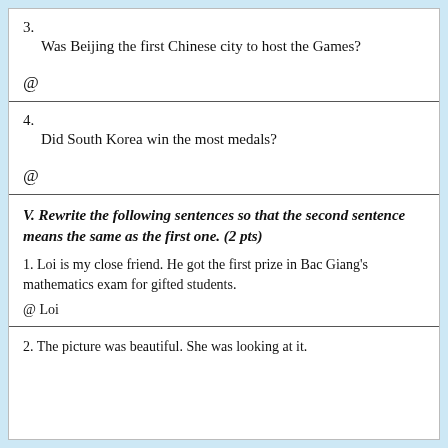3.
    Was Beijing the first Chinese city to host the Games?
@
4.
    Did South Korea win the most medals?
@
V. Rewrite the following sentences so that the second sentence means the same as the first one. (2 pts)
1. Loi is my close friend. He got the first prize in Bac Giang’s mathematics exam for gifted students.
@ Loi
2. The picture was beautiful. She was looking at it.